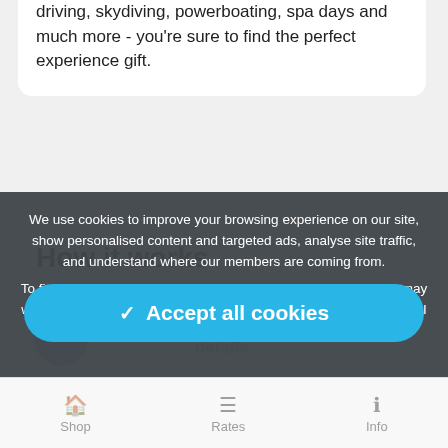driving, skydiving, powerboating, spa days and much more - you're sure to find the perfect experience gift.
How it works
We use cookies to improve your browsing experience on our site, show personalised content and targeted ads, analyse site traffic, and understand where our members are coming from.
To find out more, please read our cookie policy. In addition, you may wish to read our privacy policy and terms & conditions. By clicking "I accept", you consent to our use of cookies.
✓ Accept all cookies
⚙ Manage settings